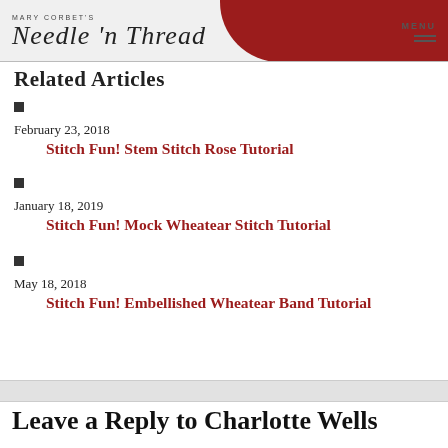Mary Corbet's Needle 'n Thread | MENU
Related Articles
February 23, 2018
Stitch Fun! Stem Stitch Rose Tutorial
January 18, 2019
Stitch Fun! Mock Wheatear Stitch Tutorial
May 18, 2018
Stitch Fun! Embellished Wheatear Band Tutorial
Leave a Reply to Charlotte Wells